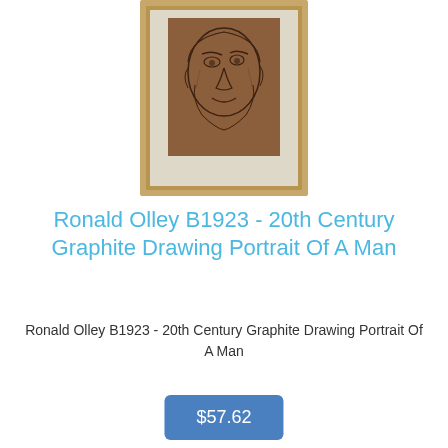[Figure (photo): A framed graphite drawing portrait of a man, set in a light wooden frame with cream mat board. The drawing shows a face on brown paper.]
Ronald Olley B1923 - 20th Century Graphite Drawing Portrait Of A Man
Ronald Olley B1923 - 20th Century Graphite Drawing Portrait Of A Man
$57.62